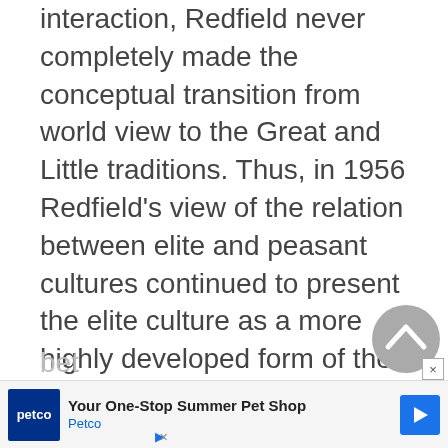clearly tied to social roles and social interaction, Redfield never completely made the conceptual transition from world view to the Great and Little traditions. Thus, in 1956 Redfield's view of the relation between elite and peasant cultures continued to present the elite culture as a more highly developed form of the peasant culture. Redfield believed that this presentation would provide the basis for the study of intercommunications bet...
[Figure (other): Back-to-top button: a grey circle with an upward-pointing chevron arrow]
[Figure (other): Advertisement banner: Petco 'Your One-Stop Summer Pet Shop' ad with logo, headline, and blue diamond arrow icon]